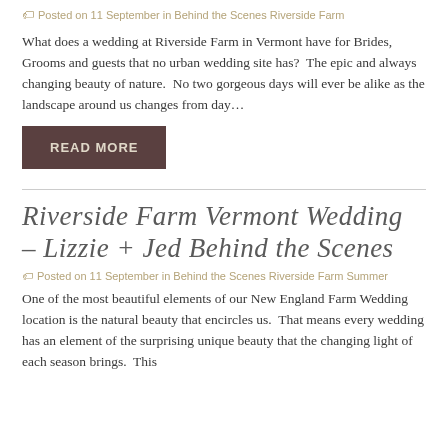Posted on 11 September in Behind the Scenes Riverside Farm
What does a wedding at Riverside Farm in Vermont have for Brides, Grooms and guests that no urban wedding site has?  The epic and always changing beauty of nature.  No two gorgeous days will ever be alike as the landscape around us changes from day…
READ MORE
Riverside Farm Vermont Wedding – Lizzie + Jed Behind the Scenes
Posted on 11 September in Behind the Scenes Riverside Farm Summer
One of the most beautiful elements of our New England Farm Wedding location is the natural beauty that encircles us.  That means every wedding has an element of the surprising unique beauty that the changing light of each season brings.  This